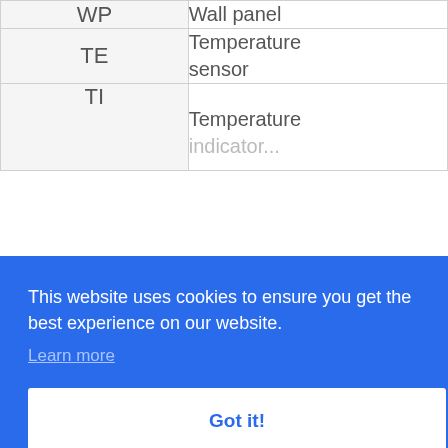| Abbreviation | Description |
| --- | --- |
| WP | Wall panel |
| TE | Temperature sensor |
| TI | Temperature indicator (partial) |
This website uses cookies to ensure you get the best experience on our website.
Learn more
Got it!